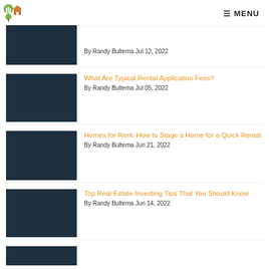metro MENU
By Randy Bultema Jul 12, 2022
What Are Typical Rental Application Fees?
By Randy Bultema Jul 05, 2022
Homes for Rent: How to Stage a Home for a Quick Rental
By Randy Bultema Jun 21, 2022
Top Real Estate Investing Tips That You Should Know
By Randy Bultema Jun 14, 2022